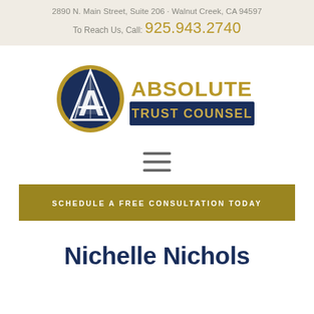2890 N. Main Street, Suite 206 · Walnut Creek, CA 94597
To Reach Us, Call: 925.943.2740
[Figure (logo): Absolute Trust Counsel logo: a gold circle with a dark navy blue sailboat/letter A emblem, next to bold gold text 'ABSOLUTE' and a navy blue banner reading 'TRUST COUNSEL']
[Figure (other): Hamburger menu icon with three horizontal lines]
SCHEDULE A FREE CONSULTATION TODAY
Nichelle Nichols